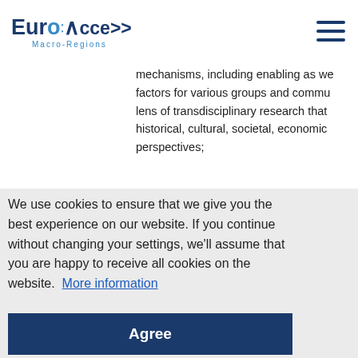EuroAccess Macro-Regions
mechanisms, including enabling as we factors for various groups and commu lens of transdisciplinary research that historical, cultural, societal, economic perspectives;
We use cookies to ensure that we give you the best experience on our website. If you continue without changing your settings, we'll assume that you are happy to receive all cookies on the website. More information
Agree
-term co from peo effective n tive recon rences be is of urge r alia, of t through
;ainst cli well as co
effective just transitions;